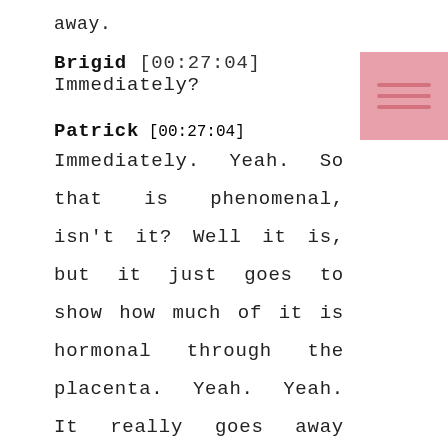away.
Brigid [00:27:04] Immediately?
Patrick [00:27:04] Immediately. Yeah. So that is phenomenal, isn't it? Well it is, but it just goes to show how much of it is hormonal through the placenta. Yeah. Yeah. It really goes away immediately and so convincingly that we don't even really bother checking the sugars from that time onwards.
[Figure (other): Pink square icon with three horizontal darker pink lines, used as a decorative or navigation element in the top right corner]